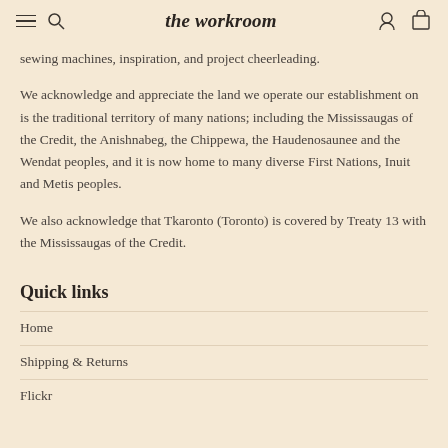the workroom
sewing machines, inspiration, and project cheerleading.
We acknowledge and appreciate the land we operate our establishment on is the traditional territory of many nations; including the Mississaugas of the Credit, the Anishnabeg, the Chippewa, the Haudenosaunee and the Wendat peoples, and it is now home to many diverse First Nations, Inuit and Metis peoples.
We also acknowledge that Tkaronto (Toronto) is covered by Treaty 13 with the Mississaugas of the Credit.
Quick links
Home
Shipping & Returns
Flickr